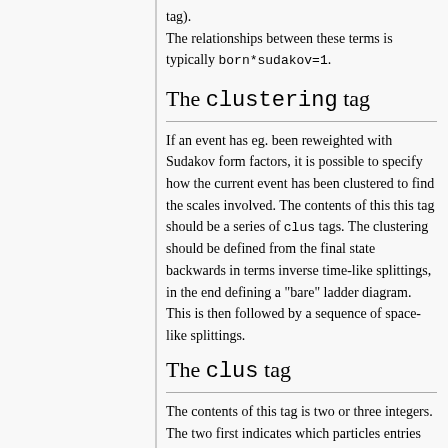The relationships between these terms is typically born*sudakov=1.
The clustering tag
If an event has eg. been reweighted with Sudakov form factors, it is possible to specify how the current event has been clustered to find the scales involved. The contents of this this tag should be a series of clus tags. The clustering should be defined from the final state backwards in terms inverse time-like splittings, in the end defining a "bare" ladder diagram. This is then followed by a sequence of space-like splittings.
The clus tag
The contents of this tag is two or three integers. The two first indicates which particles entries are clustered. If a third number is given it should correspond to an actual entry which corresponds to the combined object (if eg. a decayed resonance is explicitly present in the